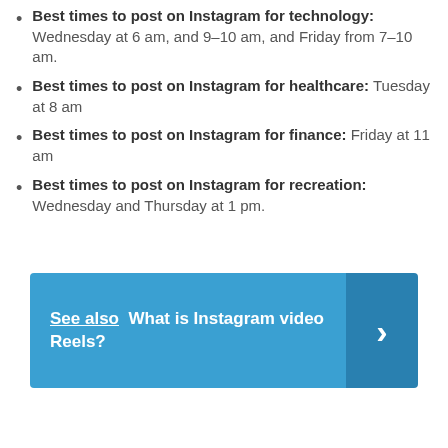Best times to post on Instagram for technology: Wednesday at 6 am, and 9–10 am, and Friday from 7–10 am.
Best times to post on Instagram for healthcare: Tuesday at 8 am
Best times to post on Instagram for finance: Friday at 11 am
Best times to post on Instagram for recreation: Wednesday and Thursday at 1 pm.
[Figure (infographic): Blue banner with 'See also What is Instagram video Reels?' text and a right-pointing chevron arrow on a darker blue panel on the right.]